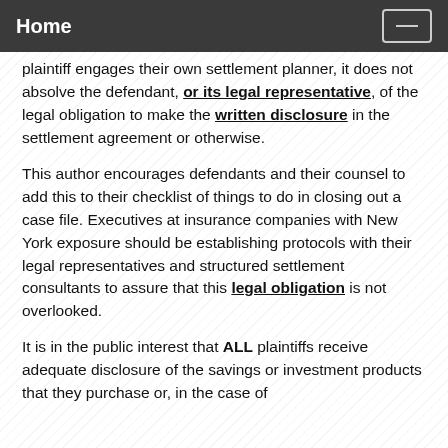Home
plaintiff engages their own settlement planner, it does not absolve the defendant, or its legal representative, of the legal obligation to make the written disclosure in the settlement agreement or otherwise.
This author encourages defendants and their counsel to add this to their checklist of things to do in closing out a case file. Executives at insurance companies with New York exposure should be establishing protocols with their legal representatives and structured settlement consultants to assure that this legal obligation is not overlooked.
It is in the public interest that ALL plaintiffs receive adequate disclosure of the savings or investment products that they purchase or, in the case of structured settlements, to benefit from.